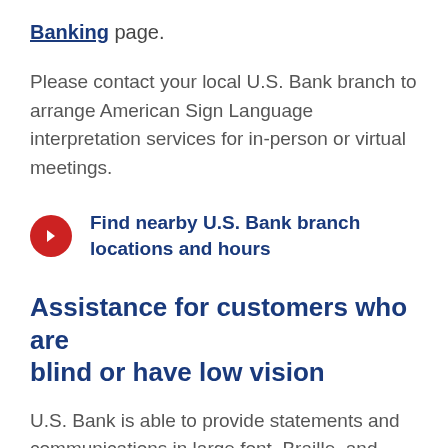Banking page.
Please contact your local U.S. Bank branch to arrange American Sign Language interpretation services for in-person or virtual meetings.
Find nearby U.S. Bank branch locations and hours
Assistance for customers who are blind or have low vision
U.S. Bank is able to provide statements and communications in large font, Braille, and accessible digital formats. Our bankers are also